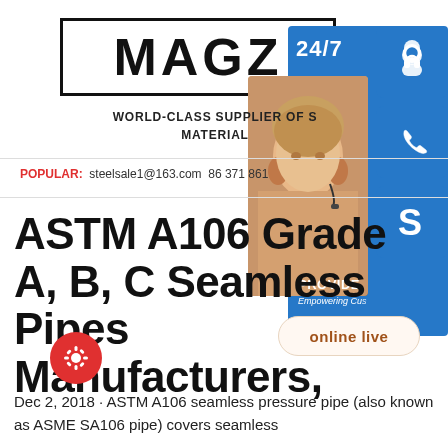[Figure (logo): MAGZ logo in bold black text inside a rectangular border]
[Figure (infographic): 24/7 customer support sidebar widget with blue panels, person photo, headset/phone/Skype icons, PROVIDE Empowering Customers text, and online live button]
WORLD-CLASS SUPPLIER OF STEEL MATERIAL
POPULAR: steelsale1@163.com  86 371 861
ASTM A106 Grade A, B, C Seamless Pipes Manufacturers,
Dec 2, 2018 · ASTM A106 seamless pressure pipe (also known as ASME SA106 pipe) covers seamless